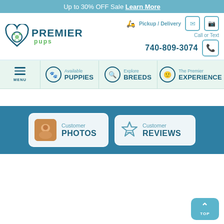Up to 30% OFF Sale Learn More
[Figure (logo): Premier Pups logo with heart and paw icon]
Pickup / Delivery
Call or Text
740-809-3074
[Figure (infographic): Navigation bar with hamburger menu, Available Puppies, Explore Breeds, The Premier Experience]
[Figure (infographic): Blue banner with Customer Photos and Customer Reviews buttons]
[Figure (infographic): Back to top button (TOP arrow) at bottom right]